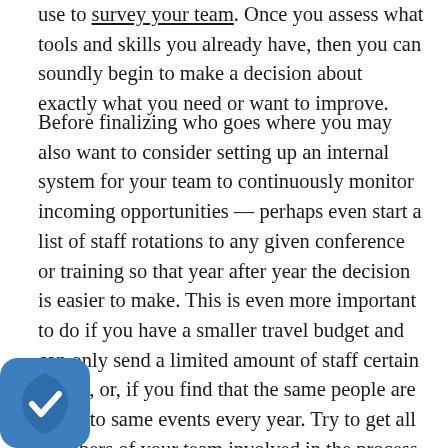use to survey your team. Once you assess what tools and skills you already have, then you can soundly begin to make a decision about exactly what you need or want to improve.
Before finalizing who goes where you may also want to consider setting up an internal system for your team to continuously monitor incoming opportunities — perhaps even start a list of staff rotations to any given conference or training so that year after year the decision is easier to make. This is even more important to do if you have a smaller travel budget and can only send a limited amount of staff certain places, or, if you find that the same people are going to same events every year. Try to get all members of your team involved in the process and start to create an environment where each person is responsible for their professional development. Keep in mind that having each member of your team develop their own network greatly enhances the overall network of the team. Develop a system where any member of your team is empowered to ask to attend a conference, and one that allows
[Figure (logo): Blue rounded square shield icon with a white checkmark, overlaid in the bottom-left corner of the page.]